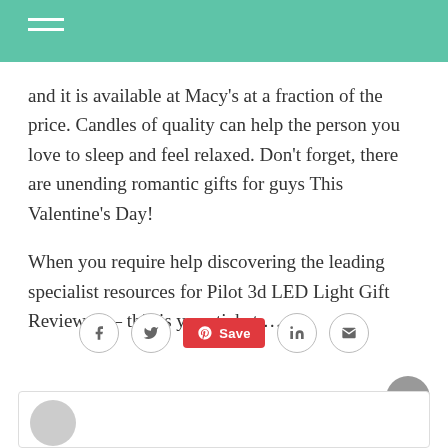and it is available at Macy's at a fraction of the price. Candles of quality can help the person you love to sleep and feel relaxed. Don't forget, there are unending romantic gifts for guys This Valentine's Day!
When you require help discovering the leading specialist resources for Pilot 3d LED Light Gift Reviews – – this is your ticket …
[Figure (infographic): Social sharing icons row: Facebook, Twitter, Pinterest Save button (red), LinkedIn, Email]